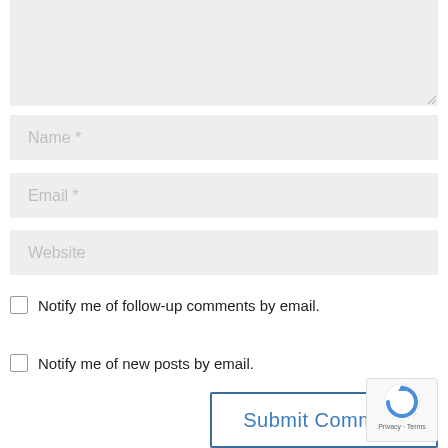[Figure (screenshot): Comment text area input field (empty, light gray background)]
Name *
Email *
Website
Notify me of follow-up comments by email.
Notify me of new posts by email.
Submit Comment
[Figure (logo): reCAPTCHA badge with Privacy and Terms text]